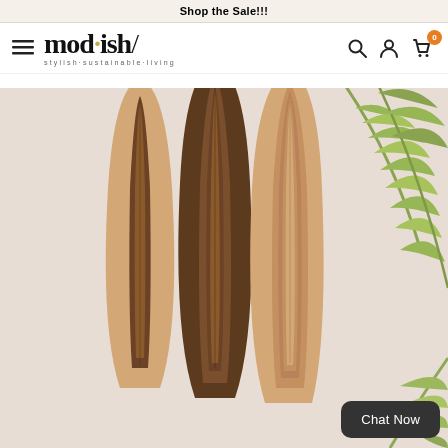Shop the Sale!!!
[Figure (logo): mod.ish/ logo with tagline: stylish·sustainable·living, hamburger menu icon on left, search/account/cart icons on right]
[Figure (photo): Three decorative wooden surfboard wall art pieces leaning against a light beige/cream wall, with green palm fronds visible on the right side. Boards have alternating dark brown and natural wood grain stripes.]
Chat Now